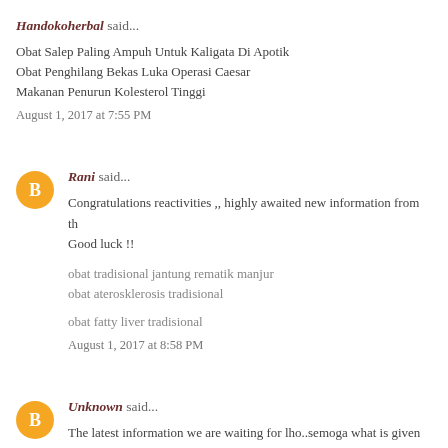Handokoherbal said...
Obat Salep Paling Ampuh Untuk Kaligata Di Apotik
Obat Penghilang Bekas Luka Operasi Caesar
Makanan Penurun Kolesterol Tinggi
August 1, 2017 at 7:55 PM
Rani said...
Congratulations reactivities ,, highly awaited new information from th Good luck !!
obat tradisional jantung rematik manjur
obat aterosklerosis tradisional
obat fatty liver tradisional
August 1, 2017 at 8:58 PM
Unknown said...
The latest information we are waiting for lho..semoga what is given ca Terimakash..success always everything..salam know ..